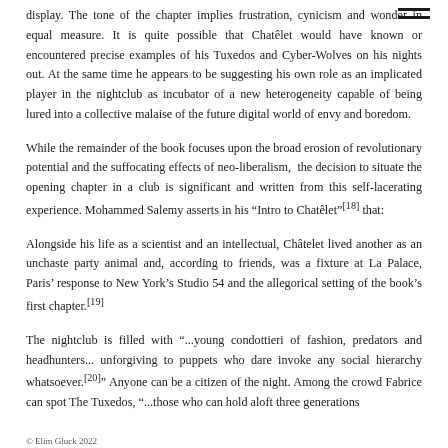display. The tone of the chapter implies frustration, cynicism and wonder in equal measure. It is quite possible that Chatêlet would have known or encountered precise examples of his Tuxedos and Cyber-Wolves on his nights out. At the same time he appears to be suggesting his own role as an implicated player in the nightclub as incubator of a new heterogeneity capable of being lured into a collective malaise of the future digital world of envy and boredom.
While the remainder of the book focuses upon the broad erosion of revolutionary potential and the suffocating effects of neo-liberalism,  the decision to situate the opening chapter in a club is significant and written from this self-lacerating experience. Mohammed Salemy asserts in his “Intro to Chatêlet”[18] that:
Alongside his life as a scientist and an intellectual, Châtelet lived another as an unchaste party animal and, according to friends, was a fixture at La Palace, Paris’ response to New York’s Studio 54 and the allegorical setting of the book’s first chapter.[19]
The nightclub is filled with “...young condottieri of fashion, predators and headhunters... unforgiving to puppets who dare invoke any social hierarchy whatsoever.[20]” Anyone can be a citizen of the night. Among the crowd Fabrice can spot The Tuxedos, “...those who can hold aloft three generations
© Elim Gluck 2022